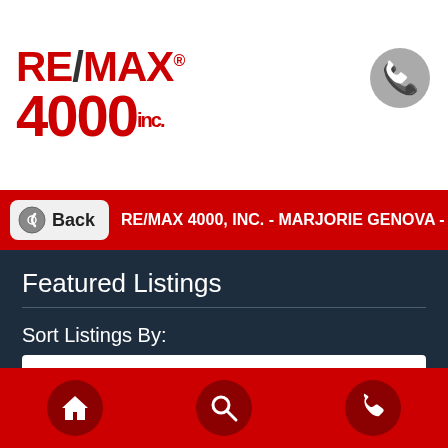[Figure (logo): RE/MAX 4000 inc. logo in red and black]
[Figure (illustration): Gray phone icon in top right corner]
Back   RE/MAX 4000, INC. - MARJORIE GENOVA - BROK...
Featured Listings
Sort Listings By:
My Featured Listings First
MLS#:  20223797
Price:  $219,999
[Figure (illustration): Bottom navigation bar with home icon, search icon, and phone icon on red background]